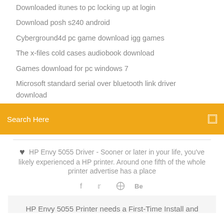Downloaded itunes to pc locking up at login
Download posh s240 android
Cyberground4d pc game download igg games
The x-files cold cases audiobook download
Games download for pc windows 7
Microsoft standard serial over bluetooth link driver download
Search Here
HP Envy 5055 Driver - Sooner or later in your life, you've likely experienced a HP printer. Around one fifth of the whole printer advertise has a place
HP Envy 5055 Printer needs a First-Time Install and